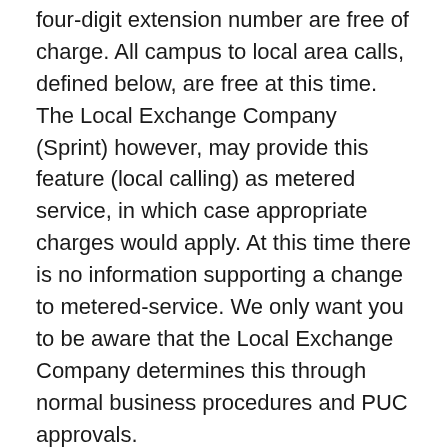four-digit extension number are free of charge. All campus to local area calls, defined below, are free at this time. The Local Exchange Company (Sprint) however, may provide this feature (local calling) as metered service, in which case appropriate charges would apply. At this time there is no information supporting a change to metered-service. We only want you to be aware that the Local Exchange Company determines this through normal business procedures and PUC approvals.
TIP - The Telecommunications Office recommends you use an analog phone that has a FLASH or TAP button. Several features including CAMP, which allows you to get a second internal caller while you are on the phone, require a FLASH or TAP button.